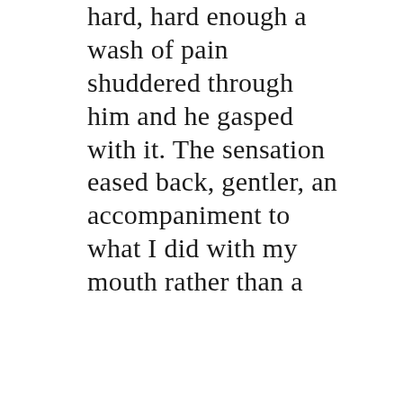hard, hard enough a wash of pain shuddered through him and he gasped with it. The sensation eased back, gentler, an accompaniment to what I did with my mouth rather than a